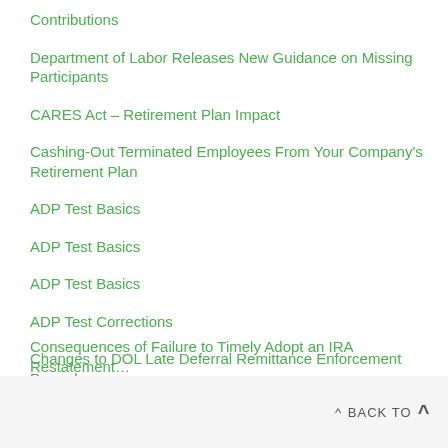Contributions
Department of Labor Releases New Guidance on Missing Participants
CARES Act – Retirement Plan Impact
Cashing-Out Terminated Employees From Your Company's Retirement Plan
ADP Test Basics
ADP Test Basics
ADP Test Basics
ADP Test Corrections
Changes to DOL Late Deferral Remittance Enforcement Procedure
Changes to 404a-5 Participan Fee Disclosure Requires Additional Notifications
^ BACK TO ^
Consequences of Failure to Timely Adopt an IRA Restatement…